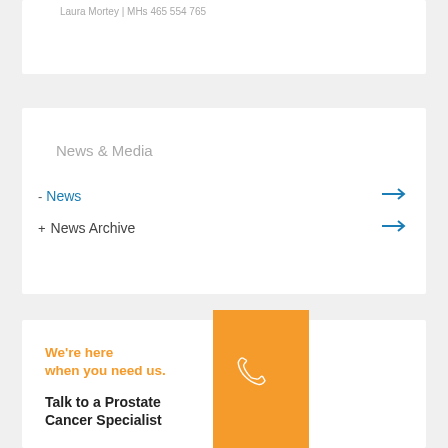Laura Mortey | MHs 465 554 765
News & Media
- News →
+ News Archive →
We're here when you need us.
Talk to a Prostate Cancer Specialist